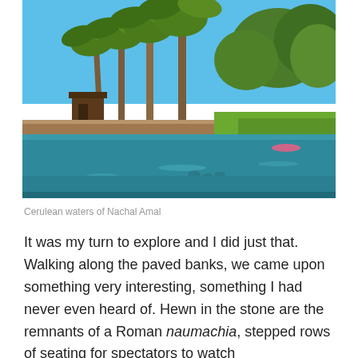[Figure (photo): Cerulean-colored water of Nachal Amal with palm trees and green vegetation along the banks, blue sky above, small boat visible in the distance.]
Cerulean waters of Nachal Amal
It was my turn to explore and I did just that. Walking along the paved banks, we came upon something very interesting, something I had never even heard of. Hewn in the stone are the remnants of a Roman naumachia, stepped rows of seating for spectators to watch